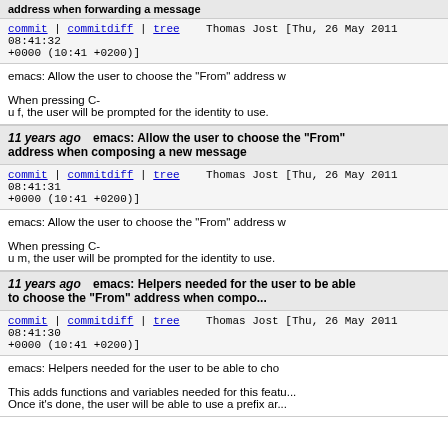address when forwarding a message
commit | commitdiff | tree   Thomas Jost [Thu, 26 May 2011 08:41:32 +0000 (10:41 +0200)]
emacs: Allow the user to choose the "From" address w...

When pressing C-
u f, the user will be prompted for the identity to use.
11 years ago   emacs: Allow the user to choose the "From" address when composing a new message
commit | commitdiff | tree   Thomas Jost [Thu, 26 May 2011 08:41:31 +0000 (10:41 +0200)]
emacs: Allow the user to choose the "From" address w...

When pressing C-
u m, the user will be prompted for the identity to use.
11 years ago   emacs: Helpers needed for the user to be able to choose the "From" address when compo...
commit | commitdiff | tree   Thomas Jost [Thu, 26 May 2011 08:41:30 +0000 (10:41 +0200)]
emacs: Helpers needed for the user to be able to cho...

This adds functions and variables needed for this featu...
Once it's done, the user will be able to use a prefix ar...